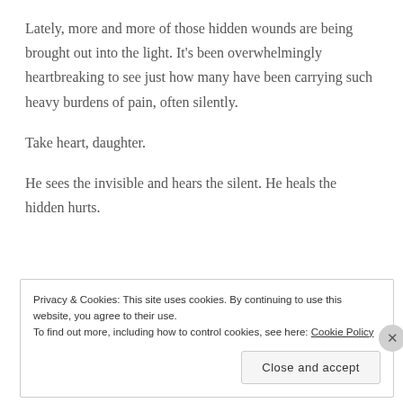Lately, more and more of those hidden wounds are being brought out into the light. It's been overwhelmingly heartbreaking to see just how many have been carrying such heavy burdens of pain, often silently.
Take heart, daughter.
He sees the invisible and hears the silent. He heals the hidden hurts.
Privacy & Cookies: This site uses cookies. By continuing to use this website, you agree to their use.
To find out more, including how to control cookies, see here: Cookie Policy
Close and accept